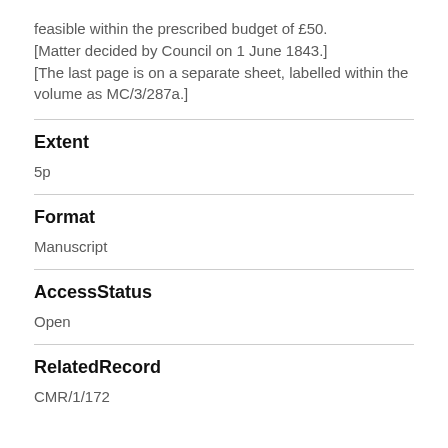feasible within the prescribed budget of £50.
[Matter decided by Council on 1 June 1843.]
[The last page is on a separate sheet, labelled within the volume as MC/3/287a.]
Extent
5p
Format
Manuscript
AccessStatus
Open
RelatedRecord
CMR/1/172